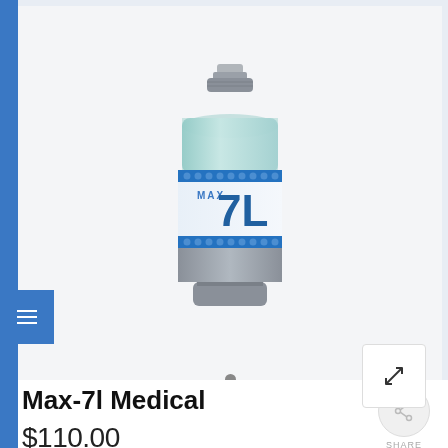[Figure (photo): MAX-7I medical oxygen sensor/cell product photo. A cylindrical sensor device with a grey plastic body, a metal threaded top fitting, and a white label band with blue dot-pattern borders reading 'MAX 7L' in large blue text.]
Max-7l Medical
$110.00